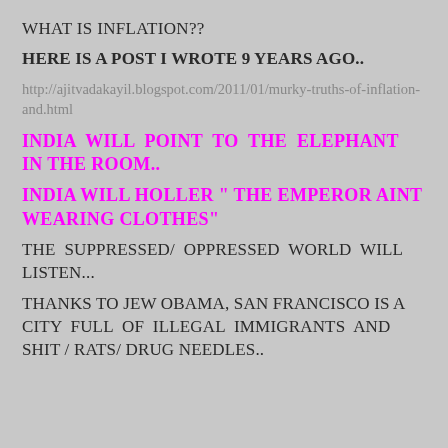WHAT IS INFLATION??
HERE IS A POST I WROTE 9 YEARS AGO..
http://ajitvadakayil.blogspot.com/2011/01/murky-truths-of-inflation-and.html
INDIA WILL POINT TO THE ELEPHANT IN THE ROOM..
INDIA WILL HOLLER " THE EMPEROR AINT WEARING CLOTHES"
THE SUPPRESSED/ OPPRESSED WORLD WILL LISTEN...
THANKS TO JEW OBAMA, SAN FRANCISCO IS A CITY FULL OF ILLEGAL IMMIGRANTS AND SHIT / RATS/ DRUG NEEDLES..